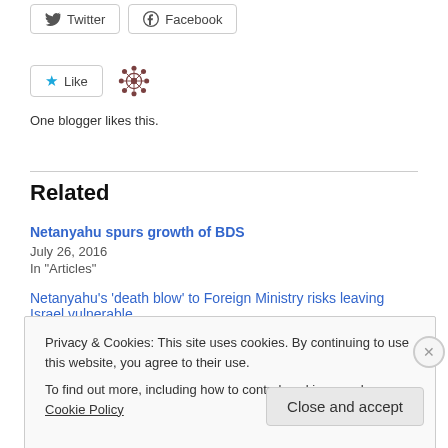[Figure (other): Twitter and Facebook share buttons]
[Figure (other): Like button with star icon and network/avatar icon; text: One blogger likes this.]
Related
Netanyahu spurs growth of BDS
July 26, 2016
In "Articles"
Netanyahu's 'death blow' to Foreign Ministry risks leaving Israel vulnerable
Privacy & Cookies: This site uses cookies. By continuing to use this website, you agree to their use.
To find out more, including how to control cookies, see here: Cookie Policy